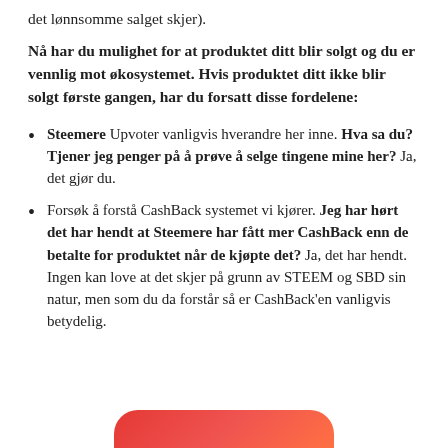det lønnsomme salget skjer).
Nå har du mulighet for at produktet ditt blir solgt og du er vennlig mot økosystemet. Hvis produktet ditt ikke blir solgt første gangen, har du forsatt disse fordelene:
Steemere Upvoter vanligvis hverandre her inne. Hva sa du? Tjener jeg penger på å prøve å selge tingene mine her? Ja, det gjør du.
Forsøk å forstå CashBack systemet vi kjører. Jeg har hørt det har hendt at Steemere har fått mer CashBack enn de betalte for produktet når de kjøpte det? Ja, det har hendt. Ingen kan love at det skjer på grunn av STEEM og SBD sin natur, men som du da forstår så er CashBack'en vanligvis betydelig.
[Figure (other): Red rounded button at the bottom of the page, partially visible]